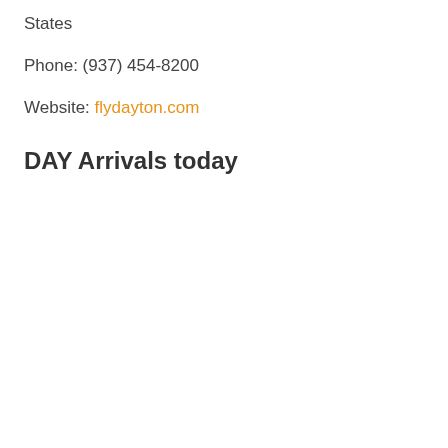States
Phone: (937) 454-8200
Website: flydayton.com
DAY Arrivals today